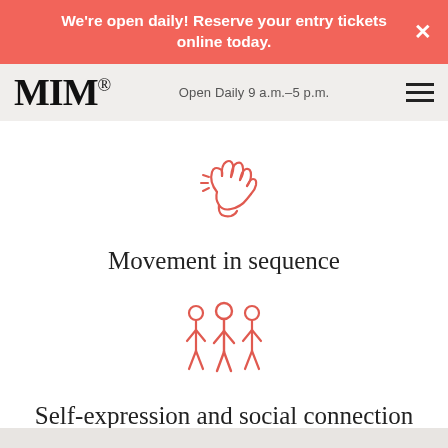We're open daily! Reserve your entry tickets online today.
MIM — Open Daily 9 a.m.–5 p.m.
[Figure (illustration): Red outline icon of a hand snapping fingers]
Movement in sequence
[Figure (illustration): Red outline icon of three people standing together]
Self-expression and social connection